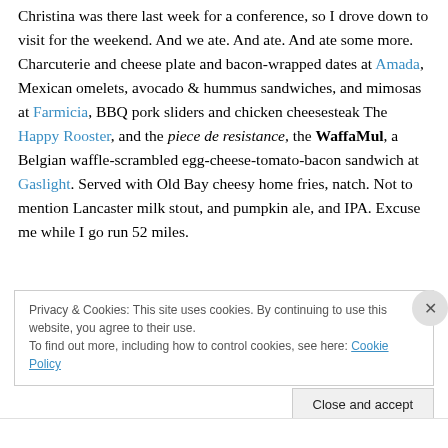Christina was there last week for a conference, so I drove down to visit for the weekend. And we ate. And ate. And ate some more. Charcuterie and cheese plate and bacon-wrapped dates at Amada, Mexican omelets, avocado & hummus sandwiches, and mimosas at Farmicia, BBQ pork sliders and chicken cheesesteak The Happy Rooster, and the piece de resistance, the WaffaMul, a Belgian waffle-scrambled egg-cheese-tomato-bacon sandwich at Gaslight. Served with Old Bay cheesy home fries, natch. Not to mention Lancaster milk stout, and pumpkin ale, and IPA. Excuse me while I go run 52 miles.
Privacy & Cookies: This site uses cookies. By continuing to use this website, you agree to their use. To find out more, including how to control cookies, see here: Cookie Policy
Close and accept